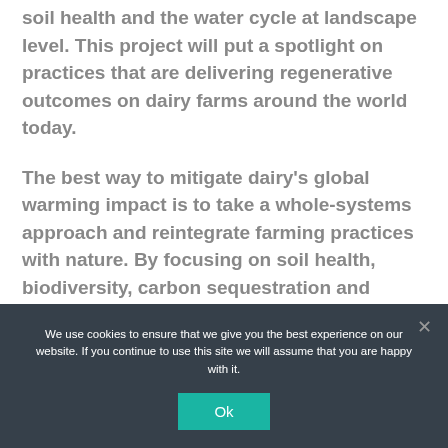soil health and the water cycle at landscape level. This project will put a spotlight on practices that are delivering regenerative outcomes on dairy farms around the world today.
The best way to mitigate dairy's global warming impact is to take a whole-systems approach and reintegrate farming practices with nature. By focusing on soil health, biodiversity, carbon sequestration and storage and water management, the
We use cookies to ensure that we give you the best experience on our website. If you continue to use this site we will assume that you are happy with it.
Ok